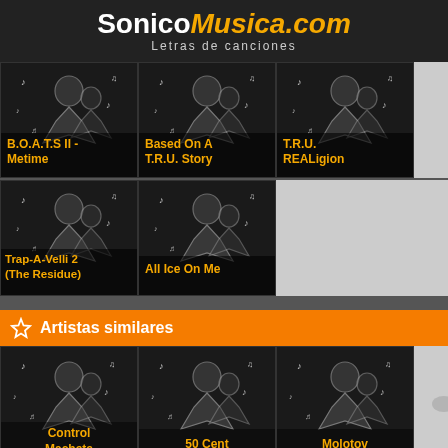SonicoMusica.com — Letras de canciones
[Figure (screenshot): Grid of 5 album/song thumbnails with silhouette musician art on dark background. Titles shown in orange: B.O.A.T.S II - Metime, Based On A T.R.U. Story, T.R.U. REALigion, Trap-A-Velli 2 (The Residue), All Ice On Me]
Artistas similares
[Figure (screenshot): Grid of similar artist thumbnails with silhouette art. Artists shown: Control Machete, 50 Cent, Molotov]